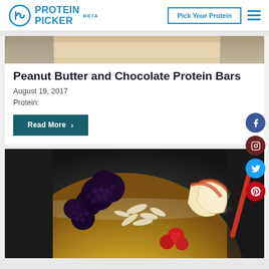PROTEIN PICKER BETA | Pick Your Protein
[Figure (photo): Partial view of bread/peanut butter protein bar photo strip at top of article card]
Peanut Butter and Chocolate Protein Bars
August 19, 2017
Protein:
Read More >
[Figure (photo): Close-up overhead photo of a yellow smoothie bowl topped with blackberries, raspberries, coconut flakes, hemp seeds, and apple slices]